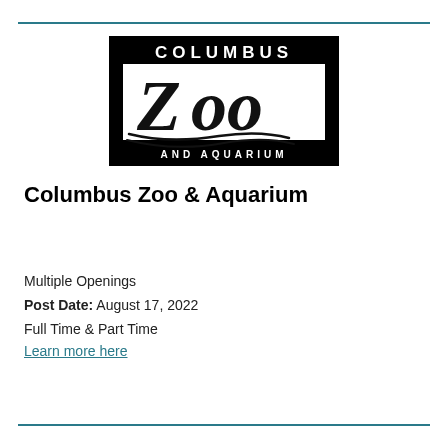[Figure (logo): Columbus Zoo and Aquarium logo — black background with white 'COLUMBUS' text at top, large stylized 'Zoo' lettering in white box center, 'AND AQUARIUM' text at bottom]
Columbus Zoo & Aquarium
Multiple Openings
Post Date: August 17, 2022
Full Time & Part Time
Learn more here